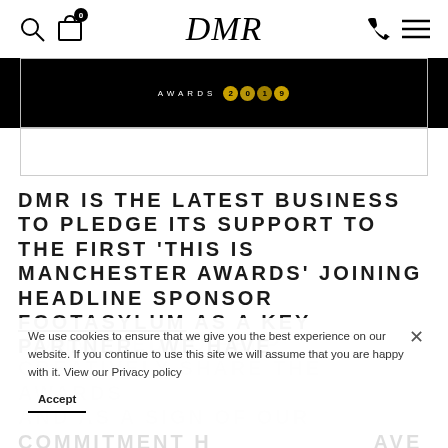DMR
[Figure (screenshot): Awards banner with black background showing 'AWARDS' text with gold circle icons for 2019 or similar year]
DMR IS THE LATEST BUSINESS TO PLEDGE ITS SUPPORT TO THE FIRST ‘THIS IS MANCHESTER AWARDS’ JOINING HEADLINE SPONSOR FOOTASYLUM AS A KEY PARTNER.  WE HAVE COMMITTED TO HELP CREATIVELY SHARE THE AWARDS AND AS A SIGN OF OUR COMMITMENT HAVE ALREADY DONATED AN EXCLUSIVE ONE
We use cookies to ensure that we give you the best experience on our website. If you continue to use this site we will assume that you are happy with it. View our Privacy policy
Accept